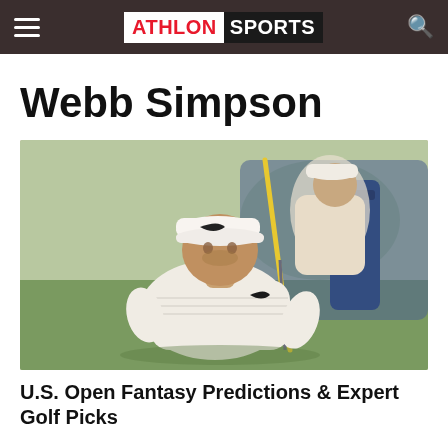ATHLON SPORTS
Webb Simpson
[Figure (photo): Two golfers on a putting green; a player wearing a white Nike cap and white polo shirt crouches to read a putt while a second person (caddie or another player) stands behind holding a yellow golf club, with a blue bag visible in the background.]
U.S. Open Fantasy Predictions & Expert Golf Picks